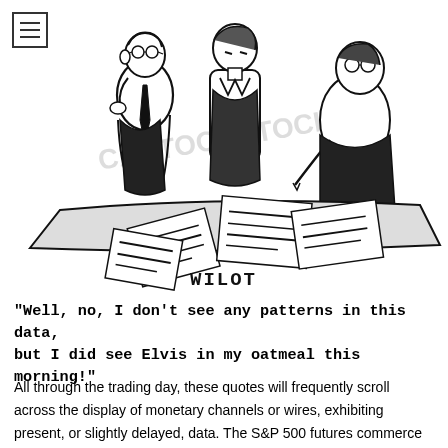[Figure (illustration): Black and white cartoon/illustration showing three businessmen huddled around a desk covered in papers and charts. The artist signature 'WILOT' appears below the cartoon. A watermark from a stock image service is visible.]
"Well, no, I don't see any patterns in this data, but I did see Elvis in my oatmeal this morning!"
All through the trading day, these quotes will frequently scroll across the display of monetary channels or wires, exhibiting present, or slightly delayed, data. The S&P 500 futures commerce four points, or